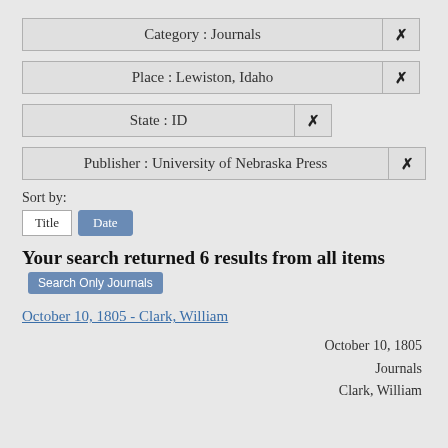Category : Journals
Place : Lewiston, Idaho
State : ID
Publisher : University of Nebraska Press
Sort by:
Title  Date
Your search returned 6 results from all items  Search Only Journals
October 10, 1805 - Clark, William
October 10, 1805
Journals
Clark, William